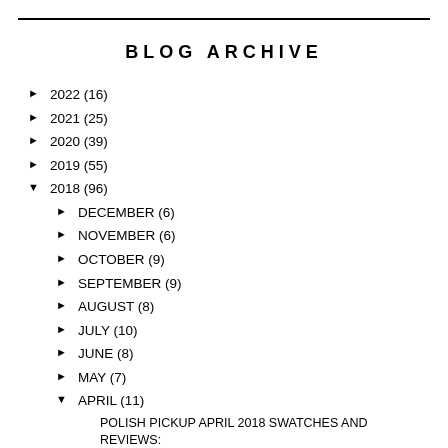BLOG ARCHIVE
▶ 2022 (16)
▶ 2021 (25)
▶ 2020 (39)
▶ 2019 (55)
▼ 2018 (96)
▶ DECEMBER (6)
▶ NOVEMBER (6)
▶ OCTOBER (9)
▶ SEPTEMBER (9)
▶ AUGUST (8)
▶ JULY (10)
▶ JUNE (8)
▶ MAY (7)
▼ APRIL (11)
POLISH PICKUP APRIL 2018 SWATCHES AND REVIEWS: POL...
CONTRARY POLISH PLAYING WITH FIRE COLLECTION SWATC...